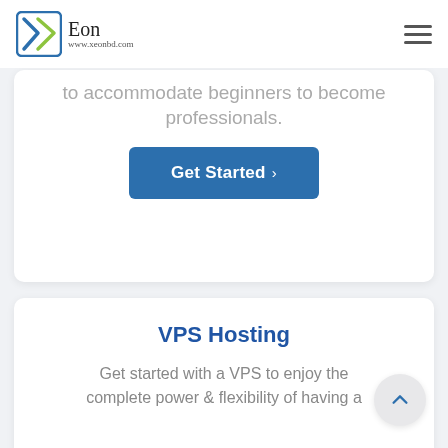Xeon - www.xeonbd.com
to accommodate beginners to become professionals.
Get Started >
VPS Hosting
Get started with a VPS to enjoy the complete power  & flexibility of having a